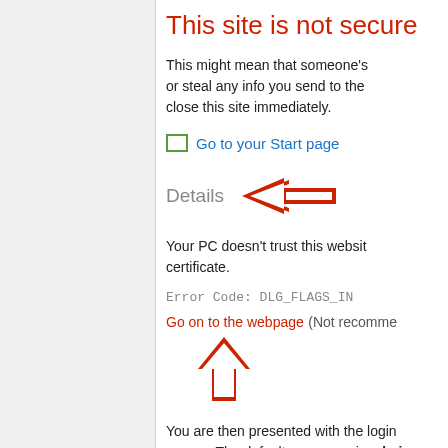This site is not secure
This might mean that someone's or steal any info you send to the close this site immediately.
Go to your Start page
[Figure (infographic): Red arrow pointing left toward the word 'Details' in gray text]
Your PC doesn't trust this website's certificate.
Error Code: DLG_FLAGS_IN
[Figure (infographic): Red arrow pointing up toward 'Go on to the webpage (Not recommended)' link text]
You are then presented with the login screen. The default username is admin and default password is admin. Please